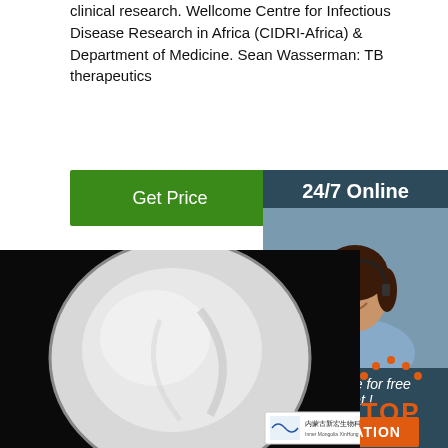clinical research. Wellcome Centre for Infectious Disease Research in Africa (CIDRI-Africa) & Department of Medicine. Sean Wasserman: TB therapeutics
[Figure (other): Green 'Get Price' button]
[Figure (other): 24/7 Online sidebar with headset agent photo, 'Click here for free chat!' text in italic, and orange QUOTATION button]
[Figure (photo): Photo of white powder substance in a circular dish on black background, with Inner Mongolia XinHong Biotech Company Limited label card at the bottom]
[Figure (logo): Orange TOP logo with arc dots above the letters at bottom right]